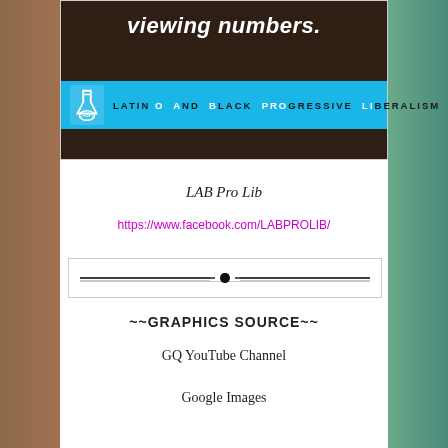[Figure (illustration): Dark brown background with italic bold white text 'viewing numbers.' and a cyan blue banner below reading 'LATINO AND BLACK PROGRESSIVE LIBERALISM' with a flask logo on the left.]
LAB Pro Lib
https://www.facebook.com/LABPROLIB/
[Figure (illustration): Decorative horizontal divider with a centered diamond/dot motif]
~~GRAPHICS SOURCE~~
GQ YouTube Channel
Google Images